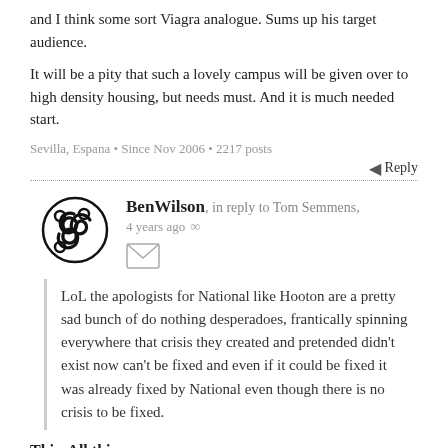and I think some sort Viagra analogue. Sums up his target audience.
It will be a pity that such a lovely campus will be given over to high density housing, but needs must. And it is much needed start.
Sevilla, Espana • Since Nov 2006 • 2217 posts
Reply
BenWilson, in reply to Tom Semmens, 4 years ago
LoL the apologists for National like Hooton are a pretty sad bunch of do nothing desperadoes, frantically spinning everywhere that crisis they created and pretended didn't exist now can't be fixed and even if it could be fixed it was already fixed by National even though there is no crisis to be fixed.
This. All this.
Auckland • Since Nov 2006 • 10657 posts